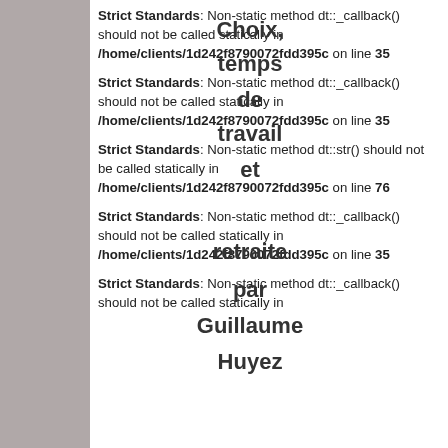Strict Standards: Non-static method dt::_callback() should not be called statically in /home/clients/1d242f8790072fdd395c on line 35
Strict Standards: Non-static method dt::_callback() should not be called statically in /home/clients/1d242f8790072fdd395c on line 35
Strict Standards: Non-static method dt::str() should not be called statically in /home/clients/1d242f8790072fdd395c on line 76
Strict Standards: Non-static method dt::_callback() should not be called statically in /home/clients/1d242f8790072fdd395c on line 35
Strict Standards: Non-static method dt::_callback() should not be called statically in /home/clients/1d242f8790072fdd395c on line 35